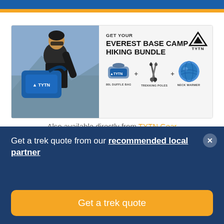[Figure (photo): TYTN Gear Everest Base Camp Hiking Bundle advertisement banner with man carrying blue TYTN duffle bag, showing bundle components: 80L Duffle Bag, Trekking Poles, Neck Warmer]
Also available directly from TYTN Gear
[Figure (infographic): Blue circular info icon]
Get a trek quote from our recommended local partner
Get a trek quote